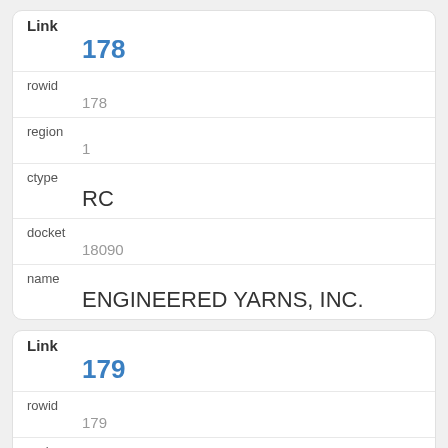| Field | Value |
| --- | --- |
| Link | 178 |
| rowid | 178 |
| region | 1 |
| ctype | RC |
| docket | 18090 |
| name | ENGINEERED YARNS, INC. |
| Field | Value |
| --- | --- |
| Link | 179 |
| rowid | 179 |
| region | 1 |
| ctype | RC |